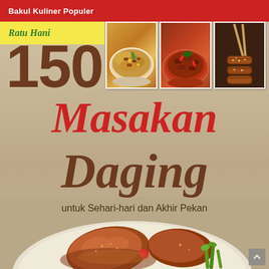Bakul Kuliner Populer
Ratu Hani
[Figure (photo): Three food photos showing meat dishes: fried rice with meat, stir-fried meat in a bowl, and skewered grilled meat held with chopsticks]
150 Masakan Daging
untuk Sehari-hari dan Akhir Pekan
[Figure (photo): Bottom photo of a plate of cooked meat dish garnished with vegetables]